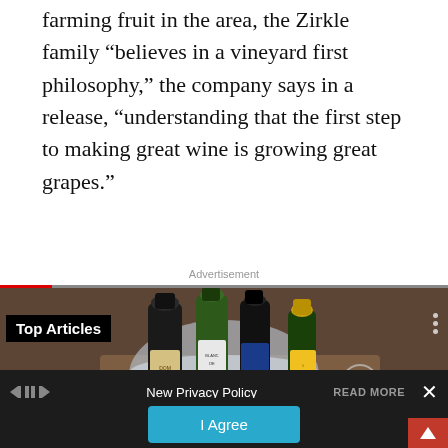farming fruit in the area, the Zirkle family “believes in a vineyard first philosophy,” the company says in a release, “understanding that the first step to making great wine is growing great grapes.”
Advertisement
[Figure (photo): Photo of champagne and wine bottles in an ice bucket on a table, with glasses nearby. Overlay text says 'Top Articles'.]
New Privacy Policy  READ MORE  ×
› Privacy Preferences
I Agree